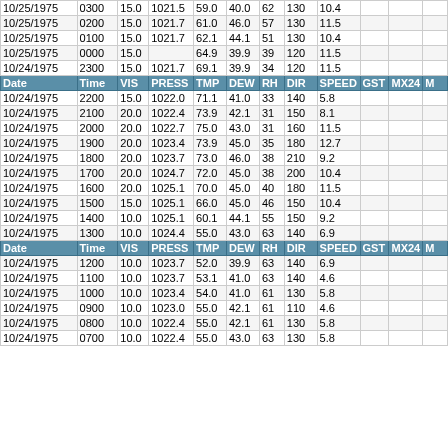| Date | Time | VIS | PRESS | TMP | DEW | RH | DIR | SPEED | GST | MX24 | M |
| --- | --- | --- | --- | --- | --- | --- | --- | --- | --- | --- | --- |
| 10/25/1975 | 0300 | 15.0 | 1021.5 | 59.0 | 40.0 | 62 | 130 | 10.4 |  |  |  |
| 10/25/1975 | 0200 | 15.0 | 1021.7 | 61.0 | 46.0 | 57 | 130 | 11.5 |  |  |  |
| 10/25/1975 | 0100 | 15.0 | 1021.7 | 62.1 | 44.1 | 51 | 130 | 10.4 |  |  |  |
| 10/25/1975 | 0000 | 15.0 |  | 64.9 | 39.9 | 39 | 120 | 11.5 |  |  |  |
| 10/24/1975 | 2300 | 15.0 | 1021.7 | 69.1 | 39.9 | 34 | 120 | 11.5 |  |  |  |
| HEADER |  |  |  |  |  |  |  |  |  |  |  |
| 10/24/1975 | 2200 | 15.0 | 1022.0 | 71.1 | 41.0 | 33 | 140 | 5.8 |  |  |  |
| 10/24/1975 | 2100 | 20.0 | 1022.4 | 73.9 | 42.1 | 31 | 150 | 8.1 |  |  |  |
| 10/24/1975 | 2000 | 20.0 | 1022.7 | 75.0 | 43.0 | 31 | 160 | 11.5 |  |  |  |
| 10/24/1975 | 1900 | 20.0 | 1023.4 | 73.9 | 45.0 | 35 | 180 | 12.7 |  |  |  |
| 10/24/1975 | 1800 | 20.0 | 1023.7 | 73.0 | 46.0 | 38 | 210 | 9.2 |  |  |  |
| 10/24/1975 | 1700 | 20.0 | 1024.7 | 72.0 | 45.0 | 38 | 200 | 10.4 |  |  |  |
| 10/24/1975 | 1600 | 20.0 | 1025.1 | 70.0 | 45.0 | 40 | 180 | 11.5 |  |  |  |
| 10/24/1975 | 1500 | 15.0 | 1025.1 | 66.0 | 45.0 | 46 | 150 | 10.4 |  |  |  |
| 10/24/1975 | 1400 | 10.0 | 1025.1 | 60.1 | 44.1 | 55 | 150 | 9.2 |  |  |  |
| 10/24/1975 | 1300 | 10.0 | 1024.4 | 55.0 | 43.0 | 63 | 140 | 6.9 |  |  |  |
| HEADER |  |  |  |  |  |  |  |  |  |  |  |
| 10/24/1975 | 1200 | 10.0 | 1023.7 | 52.0 | 39.9 | 63 | 140 | 6.9 |  |  |  |
| 10/24/1975 | 1100 | 10.0 | 1023.7 | 53.1 | 41.0 | 63 | 140 | 4.6 |  |  |  |
| 10/24/1975 | 1000 | 10.0 | 1023.4 | 54.0 | 41.0 | 61 | 130 | 5.8 |  |  |  |
| 10/24/1975 | 0900 | 10.0 | 1023.0 | 55.0 | 42.1 | 61 | 110 | 4.6 |  |  |  |
| 10/24/1975 | 0800 | 10.0 | 1022.4 | 55.0 | 42.1 | 61 | 130 | 5.8 |  |  |  |
| 10/24/1975 | 0700 | 10.0 | 1022.4 | 55.0 | 43.0 | 63 | 130 | 5.8 |  |  |  |